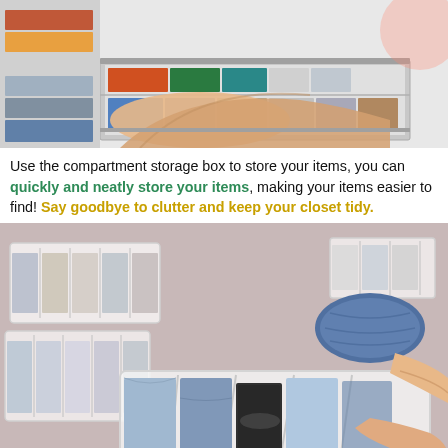[Figure (photo): Person reaching into a drawer or shelf to retrieve folded clothes. Multiple colorful folded garments are stacked neatly on shelves — showing organized clothing storage.]
Use the compartment storage box to store your items, you can quickly and neatly store your items, making your items easier to find! Say goodbye to clutter and keep your closet tidy.
[Figure (photo): Person placing a rolled pair of jeans into a white mesh compartment storage organizer. In the background are more white mesh storage boxes with folded clothing. The organizer has multiple vertical dividers creating separate slots for pants/jeans storage.]